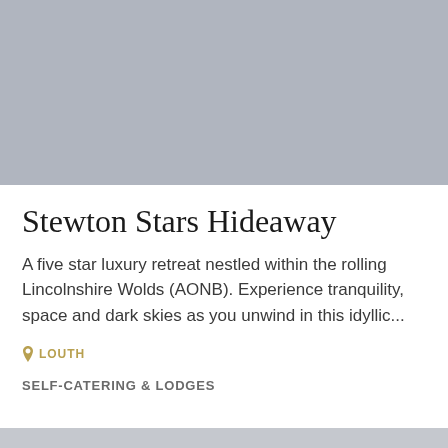[Figure (photo): Gray placeholder image for Stewton Stars Hideaway property photo]
Stewton Stars Hideaway
A five star luxury retreat nestled within the rolling Lincolnshire Wolds (AONB). Experience tranquility, space and dark skies as you unwind in this idyllic...
LOUTH
SELF-CATERING & LODGES